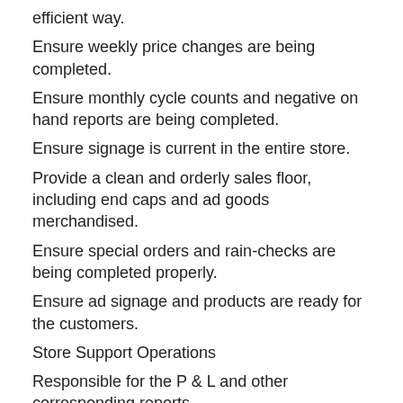efficient way.
Ensure weekly price changes are being completed.
Ensure monthly cycle counts and negative on hand reports are being completed.
Ensure signage is current in the entire store.
Provide a clean and orderly sales floor, including end caps and ad goods merchandised.
Ensure special orders and rain-checks are being completed properly.
Ensure ad signage and products are ready for the customers.
Store Support Operations
Responsible for the P & L and other corresponding reports.
Assist District Manager with the budget process for sales and expenses.
Manage payroll and other controllable expenses.
Responsible for the implementation of Store Support programs.